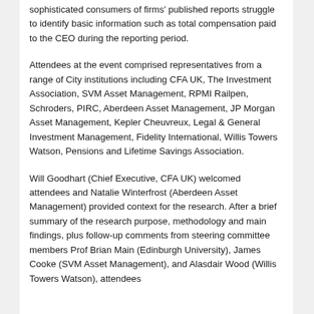sophisticated consumers of firms' published reports struggle to identify basic information such as total compensation paid to the CEO during the reporting period.
Attendees at the event comprised representatives from a range of City institutions including CFA UK, The Investment Association, SVM Asset Management, RPMI Railpen, Schroders, PIRC, Aberdeen Asset Management, JP Morgan Asset Management, Kepler Cheuvreux, Legal & General Investment Management, Fidelity International, Willis Towers Watson, Pensions and Lifetime Savings Association.
Will Goodhart (Chief Executive, CFA UK) welcomed attendees and Natalie Winterfrost (Aberdeen Asset Management) provided context for the research. After a brief summary of the research purpose, methodology and main findings, plus follow-up comments from steering committee members Prof Brian Main (Edinburgh University), James Cooke (SVM Asset Management), and Alasdair Wood (Willis Towers Watson), attendees